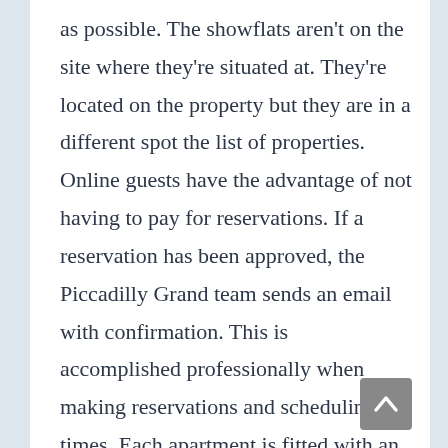as possible. The showflats aren't on the site where they're situated at. They're located on the property but they are in a different spot the list of properties. Online guests have the advantage of not having to pay for reservations. If a reservation has been approved, the Piccadilly Grand team sends an email with confirmation. This is accomplished professionally when making reservations and scheduling times. Each apartment is fitted with an alarm system that is accessible during the day to ensure the